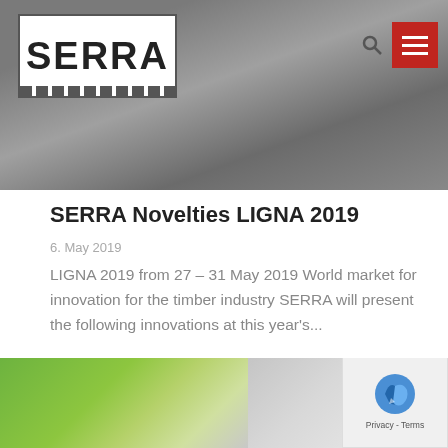[Figure (photo): SERRA website header with hero photo of industrial timber/sawmill machinery in background. SERRA logo in white box top-left, search icon and red hamburger menu button top-right.]
SERRA Novelties LIGNA 2019
6. May 2019
LIGNA 2019 from 27 – 31 May 2019 World market for innovation for the timber industry SERRA will present the following innovations at this year's...
read more ▶
[Figure (photo): Partial bottom strip showing two images side by side: left is a green-tinted image, right is a lighter grey image. A privacy/cookie consent badge appears bottom-right corner.]